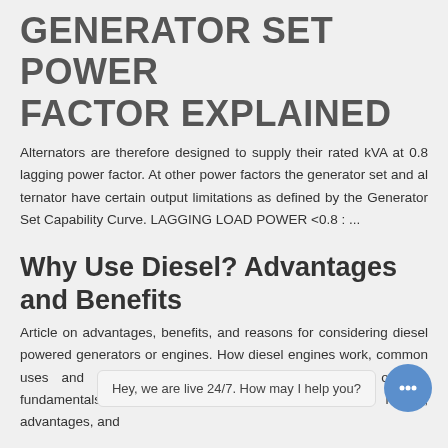GENERATOR SET POWER FACTOR EXPLAINED
Alternators are therefore designed to supply their rated kVA at 0.8 lagging power factor. At other power factors the generator set and al ternator have certain output limitations as defined by the Generator Set Capability Curve. LAGGING LOAD POWER <0.8 : ...
Why Use Diesel? Advantages and Benefits
Article on advantages, benefits, and reasons for considering diesel powered generators or engines. How diesel engines work, common uses and applications, benefits, and more. Article on the fundamentals of diesel engines. Learn about the history, advantages, and
TESTIMONY I R DRA R P G Y
Hey, we are live 24/7. How may I help you?